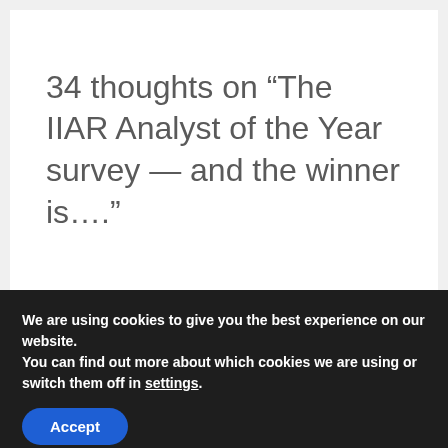34 thoughts on “The IIAR Analyst of the Year survey — and the winner is….”
We are using cookies to give you the best experience on our website.
You can find out more about which cookies we are using or switch them off in settings.